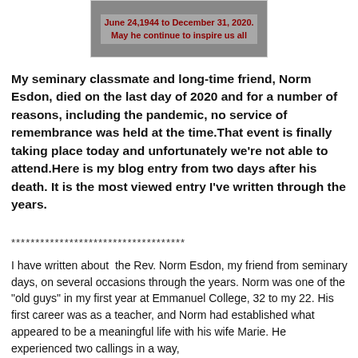[Figure (photo): Partial photo of a person with overlaid dark red text reading 'June 24,1944 to December 31, 2020. May he continue to inspire us all']
My seminary classmate and long-time friend, Norm Esdon, died on the last day of 2020 and for a number of reasons, including the pandemic, no service of remembrance was held at the time.That event is finally taking place today and unfortunately we're not able to attend.Here is my blog entry from two days after his death. It is the most viewed entry I've written through the years.
************************************
I have written about  the Rev. Norm Esdon, my friend from seminary days, on several occasions through the years. Norm was one of the "old guys" in my first year at Emmanuel College, 32 to my 22. His first career was as a teacher, and Norm had established what appeared to be a meaningful life with his wife Marie. He experienced two callings in a way,